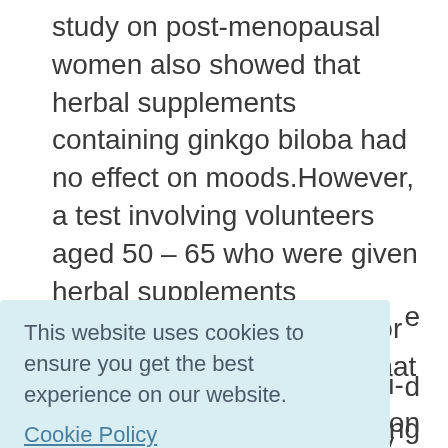study on post-menopausal women also showed that herbal supplements containing ginkgo biloba had no effect on moods.However, a test involving volunteers aged 50 – 65 who were given herbal supplements containing ginkgo extract for a four-week period found that they saw marked improvement in their quality of life, as well as their mental health. They performed significantly better on reaction tests and said
[Figure (screenshot): Cookie consent banner with light blue background. Text reads: 'This website uses cookies to ensure you get the best experience on our website.' with a 'Cookie Policy' link and a teal 'Got it!' button.]
entirely as a prescribed anti-depressant